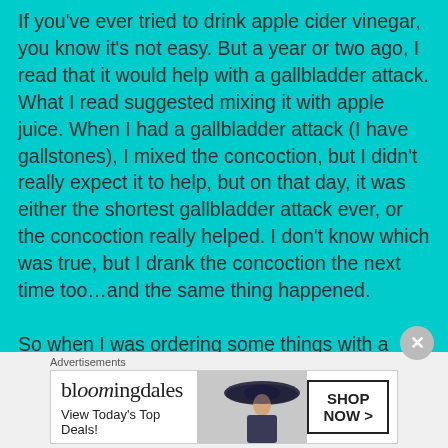If you've ever tried to drink apple cider vinegar, you know it's not easy. But a year or two ago, I read that it would help with a gallbladder attack. What I read suggested mixing it with apple juice. When I had a gallbladder attack (I have gallstones), I mixed the concoction, but I didn't really expect it to help, but on that day, it was either the shortest gallbladder attack ever, or the concoction really helped. I don't know which was true, but I drank the concoction the next time too…and the same thing happened.

So when I was ordering some things with a friend who works in a store in LA, and he suggested the Goli Apple Cider Vinegar Gummies, I decided to try them. I told him to add them to the...
[Figure (other): Bloomingdale's advertisement banner with woman wearing large brim hat, text 'View Today's Top Deals!' and 'SHOP NOW >' button]